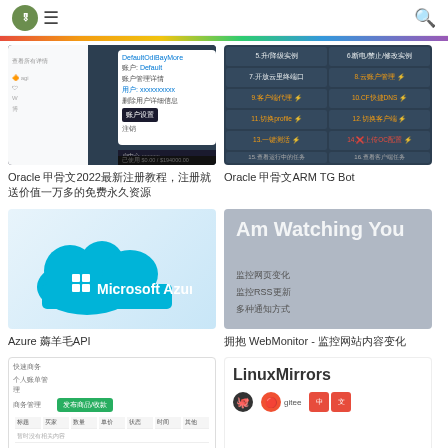Navigation header with logo, hamburger menu, and search icon
[Figure (screenshot): Oracle cloud dashboard screenshot showing dark UI with user center and billing info]
Oracle 甲骨文2022最新注册教程，注册就送价值一万多的免费永久资源
[Figure (screenshot): Oracle ARM TG Bot interface showing table of cloud management options]
Oracle 甲骨文ARM TG Bot
[Figure (illustration): Microsoft Azure cloud logo on light blue gradient background]
Azure 薅羊毛API
[Figure (screenshot): Am Watching You - WebMonitor app showing 监控网页变化, 监控RSS更新, 多种通知方式]
拥抱 WebMonitor - 监控网站内容变化
[Figure (screenshot): Screenshot showing a form interface with green button and table data]
[Figure (screenshot): LinuxMirrors logo with GitHub and social icons]